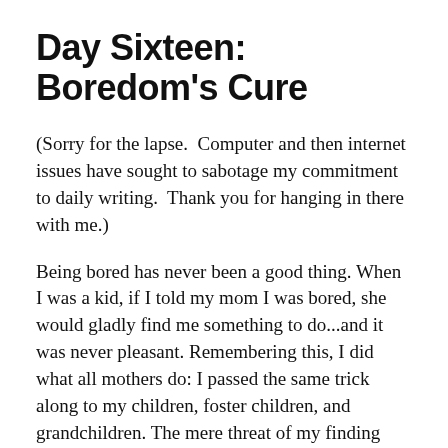Day Sixteen: Boredom's Cure
(Sorry for the lapse.  Computer and then internet issues have sought to sabotage my commitment to daily writing.  Thank you for hanging in there with me.)
Being bored has never been a good thing. When I was a kid, if I told my mom I was bored, she would gladly find me something to do...and it was never pleasant. Remembering this, I did what all mothers do: I passed the same trick along to my children, foster children, and grandchildren. The mere threat of my finding